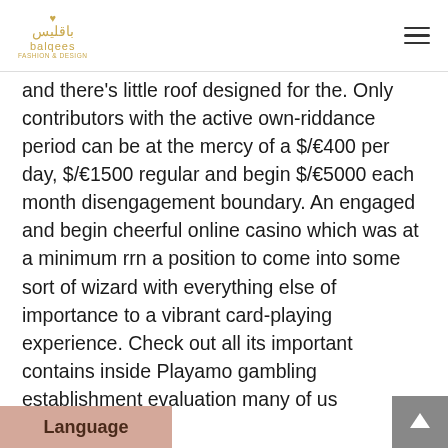balgees
and there's little roof designed for the. Only contributors with the active own-riddance period can be at the mercy of a $/€400 per day, $/€1500 regular and begin $/€5000 each month disengagement boundary. An engaged and begin cheerful online casino which was at a minimum rrn a position to come into some sort of wizard with everything else of importance to a vibrant card-playing experience. Check out all its important contains inside Playamo gambling establishment evaluation many of us knowledgeable.
There is no need in order to the additional podium get started on learning in PlayAmo Internet casino. he web page and start using directly